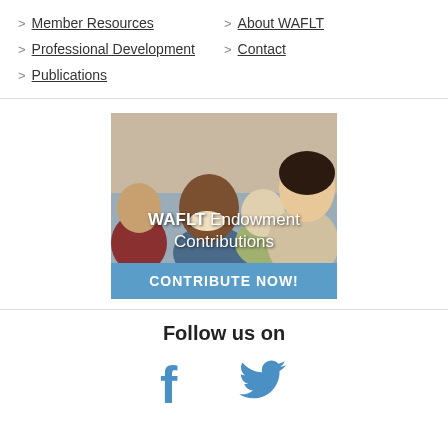> Member Resources
> About WAFLT
> Professional Development
> Contact
> Publications
[Figure (photo): Classroom photo showing students and a teacher smiling, with overlaid text 'WAFLT Endowment Contributions' and a blue button 'CONTRIBUTE NOW!']
Follow us on
[Figure (logo): Facebook and Twitter social media icons in blue]